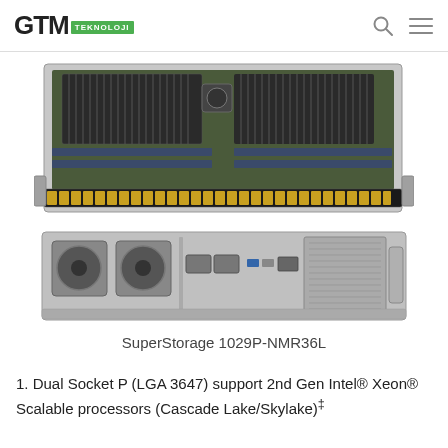GTM TEKNOLOJI
[Figure (photo): Supermicro SuperStorage 1029P-NMR36L server — top/internal view showing dual CPU sockets, heatsinks, fans, and 36 front-facing NVMe/SATA drive bays]
[Figure (photo): Supermicro SuperStorage 1029P-NMR36L server — front panel view showing I/O ports, fans, and drive bay slots]
SuperStorage 1029P-NMR36L
1. Dual Socket P (LGA 3647) support 2nd Gen Intel® Xeon® Scalable processors (Cascade Lake/Skylake)‡